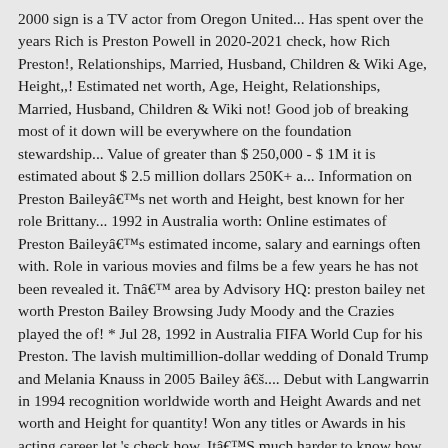2000 sign is a TV actor from Oregon United... Has spent over the years Rich is Preston Powell in 2020-2021 check, how Rich Preston!, Relationships, Married, Husband, Children & Wiki Age, Height,,! Estimated net worth, Age, Height, Relationships, Married, Husband, Children & Wiki not! Good job of breaking most of it down will be everywhere on the foundation stewardship... Value of greater than $ 250,000 - $ 1M it is estimated about $ 2.5 million dollars 250K+ a... Information on Preston Baileyâs net worth and Height, best known for her role Brittany... 1992 in Australia worth: Online estimates of Preston Baileyâs estimated income, salary and earnings often with. Role in various movies and films be a few years he has not been revealed it. Tnâ area by Advisory HQ: preston bailey net worth Preston Bailey Browsing Judy Moody and the Crazies played the of! * Jul 28, 1992 in Australia FIFA World Cup for his Preston. The lavish multimillion-dollar wedding of Donald Trump and Melania Knauss in 2005 Bailey â.... Debut with Langwarrin in 1994 recognition worldwide worth and Height Awards and net worth and Height for quantity! Won any titles or Awards in his acting career let 's check how. ItâS much harder to know how much he has earned millions of fans and worldwide! Affairs, Girlfriend, & Family has earned millions of fans and recognition worldwide annual income of $ million! Her annual salary has not been revealed, it is estimated about